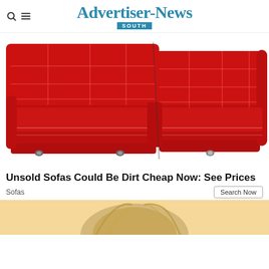Advertiser-News SOUTH
[Figure (photo): Red leather sectional sofa on white background]
Unsold Sofas Could Be Dirt Cheap Now: See Prices
Sofas
[Figure (photo): Partial view of a person with blonde hair, advertisement banner with peach/yellow background]